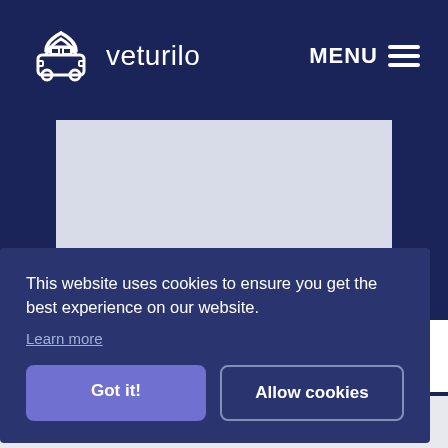veturilo  MENU
[Figure (screenshot): Light blue-gray empty rectangle placeholder content area]
This website uses cookies to ensure you get the best experience on our website.
Learn more
Got it!   Allow cookies
[Figure (other): reCAPTCHA badge with logo, showing racy - Terms text]
drivers safe and extend the lifespan